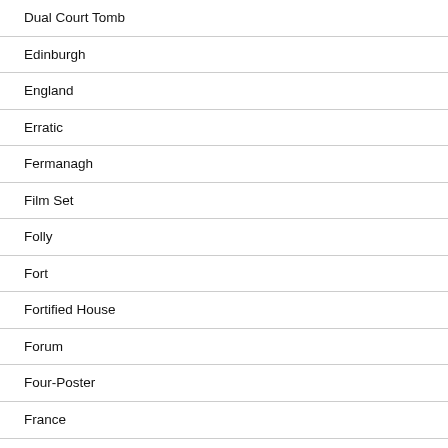Dual Court Tomb
Edinburgh
England
Erratic
Fermanagh
Film Set
Folly
Fort
Fortified House
Forum
Four-Poster
France
Friary
Gardens
Gatehouse
Gatelodge